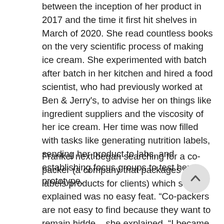between the inception of her product in 2017 and the time it first hit shelves in March of 2020. She read countless books on the very scientific process of making ice cream. She experimented with batch after batch in her kitchen and hired a food scientist, who had previously worked at Ben & Jerry's, to advise her on things like ingredient suppliers and the viscosity of her ice cream. Her time was now filled with tasks like generating nutrition labels, sending her product to labs, and establishing focus groups to test her prototype.
Frankel next began searching for a co-packer (a company that packages and labels products for clients) which she explained was no easy feat. “Co-packers are not easy to find because they want to remain hidde… she explained. “I became like a private eye hunting fo… them!” The co-packer search was time-consuming, as were other steps she recalls. “Establishing the business